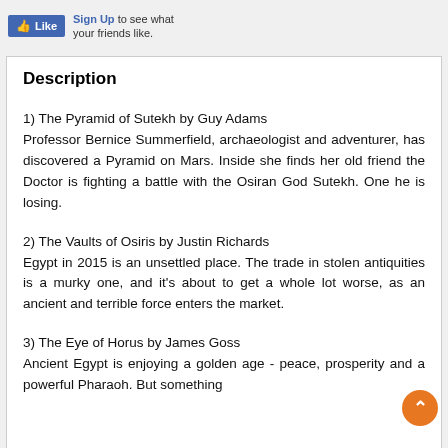Like Sign Up to see what your friends like.
Description
1) The Pyramid of Sutekh by Guy Adams
Professor Bernice Summerfield, archaeologist and adventurer, has discovered a Pyramid on Mars. Inside she finds her old friend the Doctor is fighting a battle with the Osiran God Sutekh. One he is losing.
2) The Vaults of Osiris by Justin Richards
Egypt in 2015 is an unsettled place. The trade in stolen antiquities is a murky one, and it's about to get a whole lot worse, as an ancient and terrible force enters the market.
3) The Eye of Horus by James Goss
Ancient Egypt is enjoying a golden age - peace, prosperity and a powerful Pharaoh. But something